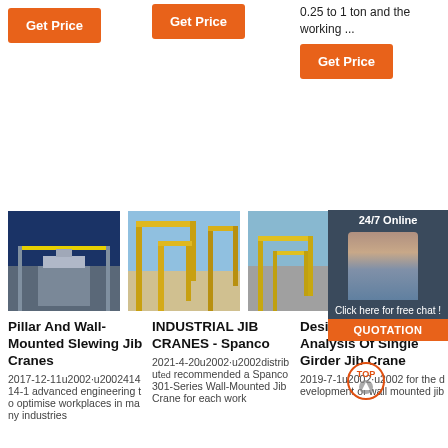Get Price
Get Price
0.25 to 1 ton and the working ...
Get Price
[Figure (photo): Interior of industrial facility with overhead crane and yellow beam]
[Figure (photo): Yellow industrial gantry jib cranes outdoors against blue sky]
[Figure (photo): Interior of factory with yellow overhead crane]
[Figure (photo): Customer service representative with headset - 24/7 Online chat widget]
Pillar And Wall-Mounted Slewing Jib Cranes
2017-12-11u2002·u200241414-1 advanced engineering to optimise workplaces in many industries
INDUSTRIAL JIB CRANES - Spanco
2021-4-20u2002·u2002distributed recommended a Spanco 301-Series Wall-Mounted Jib Crane for each work
Design And Stress Analysis Of Single Girder Jib Crane
2019-7-1u2002·u2002 for the development of wall mounted jib